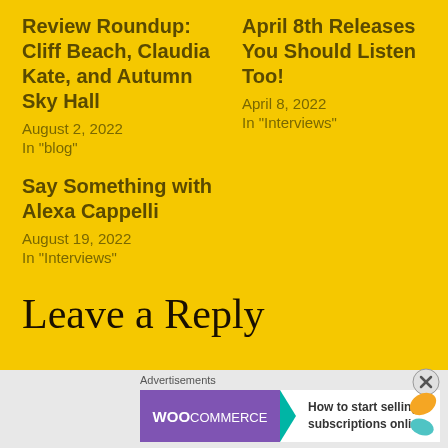Review Roundup: Cliff Beach, Claudia Kate, and Autumn Sky Hall
August 2, 2022
In "blog"
April 8th Releases You Should Listen Too!
April 8, 2022
In "Interviews"
Say Something with Alexa Cappelli
August 19, 2022
In "Interviews"
Leave a Reply
Advertisements
[Figure (screenshot): WooCommerce advertisement banner: purple badge with WooCommerce logo and teal arrow, text 'How to start selling subscriptions online', decorative orange and teal leaf shapes]